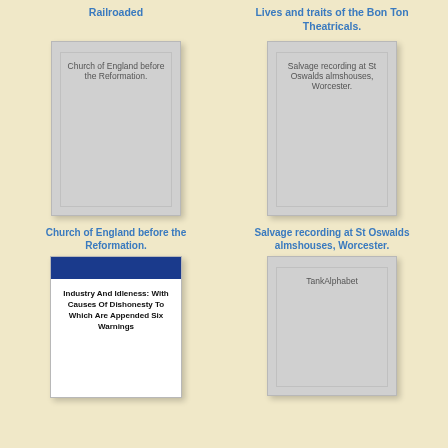Railroaded
Lives and traits of the Bon Ton Theatricals.
[Figure (illustration): Book cover placeholder for Church of England before the Reformation]
[Figure (illustration): Book cover placeholder for Salvage recording at St Oswalds almshouses, Worcester]
Church of England before the Reformation.
Salvage recording at St Oswalds almshouses, Worcester.
[Figure (illustration): Book cover with blue top bar for Industry And Idleness: With Causes Of Dishonesty To Which Are Appended Six Warnings]
[Figure (illustration): Book cover placeholder for TankAlphabet]